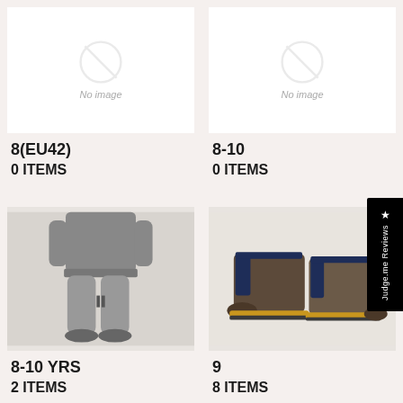[Figure (photo): No image placeholder - top left product card]
8(EU42)
0 ITEMS
[Figure (photo): No image placeholder - top right product card]
8-10
0 ITEMS
[Figure (photo): Man wearing grey slim jogger sweatpants with grey sweatshirt]
8-10 YRS
2 ITEMS
[Figure (photo): Pair of brown leather Chelsea boots with navy blue elastic sides and yellow trim sole]
9
8 ITEMS